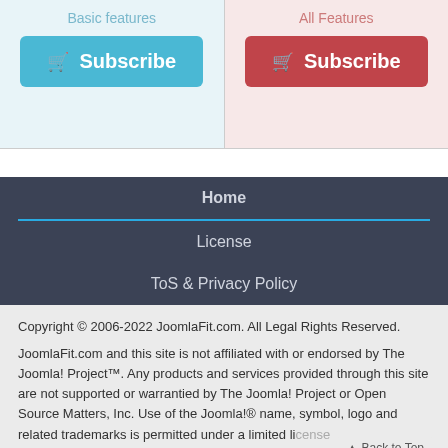Basic features
Subscribe
All Features
Subscribe
Home
License
ToS & Privacy Policy
Copyright © 2006-2022 JoomlaFit.com. All Legal Rights Reserved.
JoomlaFit.com and this site is not affiliated with or endorsed by The Joomla! Project™. Any products and services provided through this site are not supported or warrantied by The Joomla! Project or Open Source Matters, Inc. Use of the Joomla!® name, symbol, logo and related trademarks is permitted under a limited license granted by Open Source Matters, Inc.
Back to Top